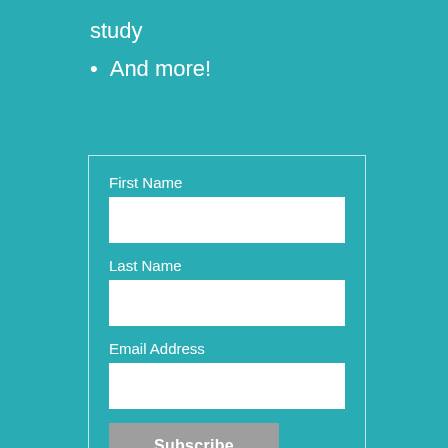study
And more!
[Figure (other): Subscription form with fields for First Name, Last Name, Email Address, and a Subscribe button]